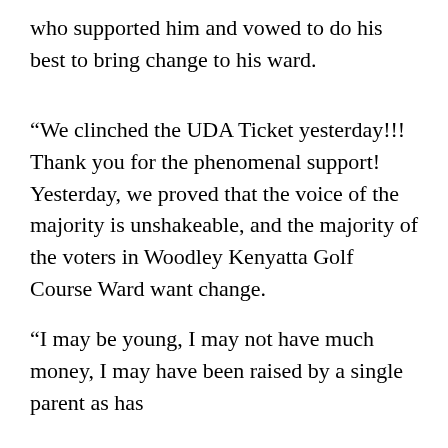who supported him and vowed to do his best to bring change to his ward.
“We clinched the UDA Ticket yesterday!!! Thank you for the phenomenal support! Yesterday, we proved that the voice of the majority is unshakeable, and the majority of the voters in Woodley Kenyatta Golf Course Ward want change.
“I may be young, I may not have much money, I may have been raised by a single parent as has